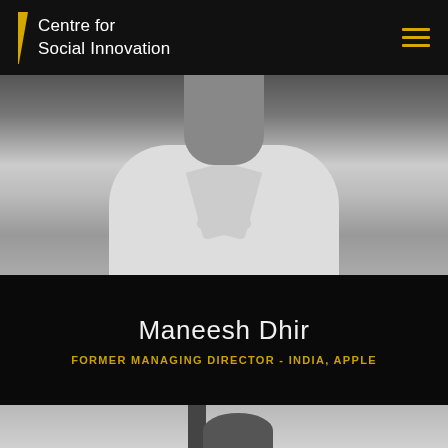Centre for Social Innovation
[Figure (photo): Black and white photo of Maneesh Dhir, cropped at neck/chest level, wearing a white collared shirt]
Maneesh Dhir
FORMER MANAGING DIRECTOR - INDIA, APPLE
[Figure (photo): Black and white photo of a second person, partially visible at top of frame, with dark vertical architectural element in background]